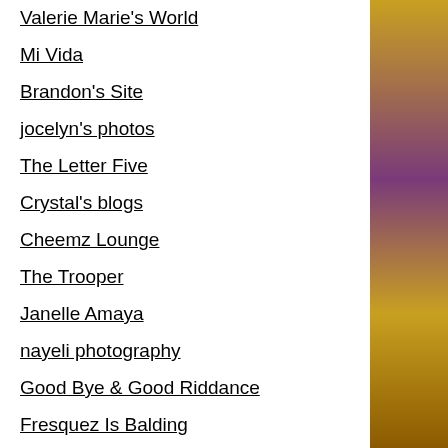Valerie Marie's World
Mi Vida
Brandon's Site
jocelyn's photos
The Letter Five
Crystal's blogs
Cheemz Lounge
The Trooper
Janelle Amaya
nayeli photography
Good Bye & Good Riddance
Fresquez Is Balding
alexmadeitright
Joceblogs0302
Robert Romero Site
BURNING DOWN THE HOUSE!